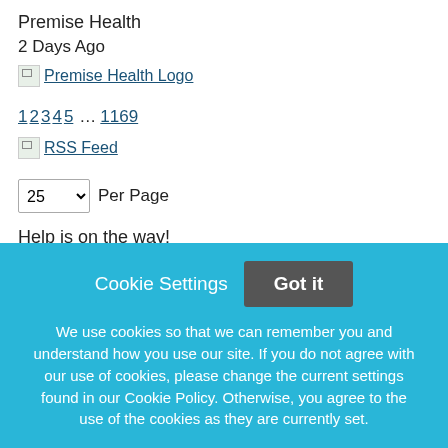Premise Health
2 Days Ago
[Figure (logo): Premise Health Logo (broken image icon with link text)]
1 2 3 4 5 ... 1169 (pagination links)
[Figure (logo): RSS Feed icon (broken image) with RSS Feed link text]
25 Per Page (dropdown selector)
Help is on the way!
We're sorry you are having trouble applying for this job.
We use cookies so that we can remember you and understand how you use our site. If you do not agree with our use of cookies, please change the current settings found in our Cookie Policy. Otherwise, you agree to the use of the cookies as they are currently set.